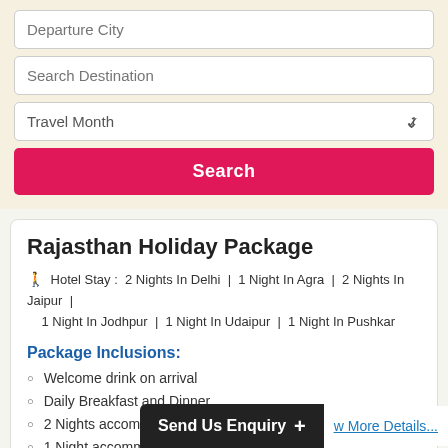[Figure (screenshot): Search form with Departure City input, Search Destination input, Travel Month dropdown, and Search button]
Rajasthan Holiday Package
Hotel Stay : 2 Nights In Delhi | 1 Night In Agra | 2 Nights In Jaipur | 1 Night In Jodhpur | 1 Night In Udaipur | 1 Night In Pushkar
Package Inclusions:
Welcome drink on arrival
Daily Breakfast and Dinner
2 Nights accommodation in Delhi
1 Night accommodation in Agra
2 Nights accommodation in Jaipur
Send Us Enquiry +  View More Details...